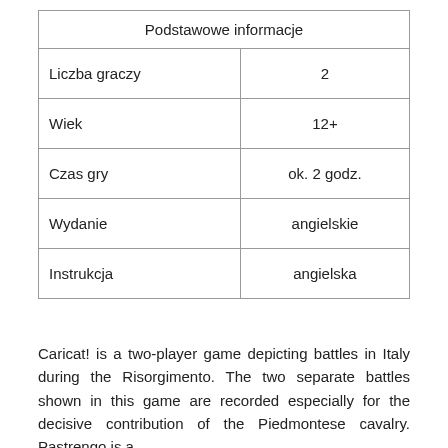| Podstawowe informacje |  |
| --- | --- |
| Liczba graczy | 2 |
| Wiek | 12+ |
| Czas gry | ok. 2 godz. |
| Wydanie | angielskie |
| Instrukcja | angielska |
Caricat! is a two-player game depicting battles in Italy during the Risorgimento. The two separate battles shown in this game are recorded especially for the decisive contribution of the Piedmontese cavalry. Pastrengo is a